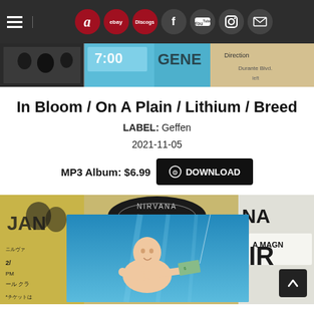Navigation bar with hamburger menu, Amazon, eBay, Discogs, Facebook, YouTube, Instagram, Mail icons
[Figure (photo): Banner strip showing partial concert/event imagery with text fragments including '7:00', 'GENE', 'Direction', 'Durant Blvd.']
In Bloom / On A Plain / Lithium / Breed
LABEL: Geffen
2021-11-05
MP3 Album: $6.99  DOWNLOAD
[Figure (photo): Nirvana Nevermind album cover - baby swimming underwater reaching for a dollar bill on a hook, surrounded by collage of Nirvana concert posters and memorabilia. Text visible includes 'NIRVANA', 'A MAGN', 'AN', 'JAN'.]